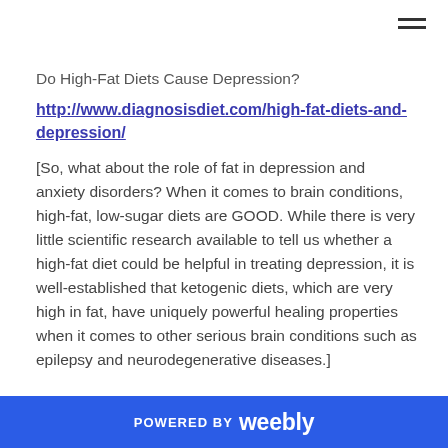Do High-Fat Diets Cause Depression?
http://www.diagnosisdiet.com/high-fat-diets-and-depression/
[So, what about the role of fat in depression and anxiety disorders? When it comes to brain conditions, high-fat, low-sugar diets are GOOD. While there is very little scientific research available to tell us whether a high-fat diet could be helpful in treating depression, it is well-established that ketogenic diets, which are very high in fat, have uniquely powerful healing properties when it comes to other serious brain conditions such as epilepsy and neurodegenerative diseases.]
POWERED BY weebly